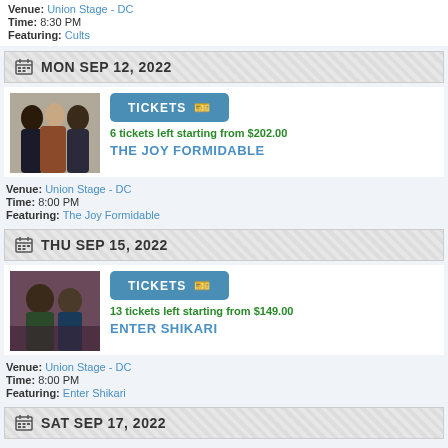Venue: Union Stage - DC
Time: 8:30 PM
Featuring: Cults
MON SEP 12, 2022
[Figure (photo): Band photo for The Joy Formidable - three people]
TICKETS
6 tickets left starting from $202.00
THE JOY FORMIDABLE
Venue: Union Stage - DC
Time: 8:00 PM
Featuring: The Joy Formidable
THU SEP 15, 2022
[Figure (photo): Band photo for Enter Shikari]
TICKETS
13 tickets left starting from $149.00
ENTER SHIKARI
Venue: Union Stage - DC
Time: 8:00 PM
Featuring: Enter Shikari
SAT SEP 17, 2022